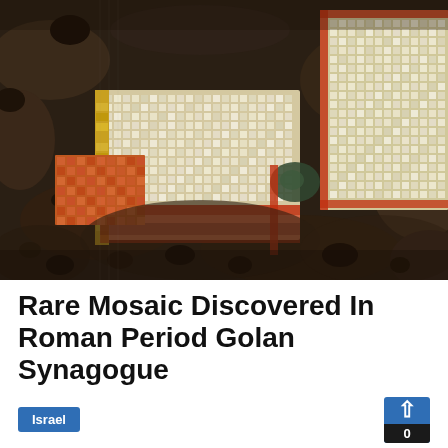[Figure (photo): Aerial/close-up photograph of an ancient mosaic partially excavated from dark volcanic soil. The mosaic features colorful tesserae in white, gold, orange, and red arranged in geometric and decorative patterns, partially uncovered from dark earth.]
Rare Mosaic Discovered In Roman Period Golan Synagogue
Israel
December 2, 2019   David Rutman, Meghan Froy